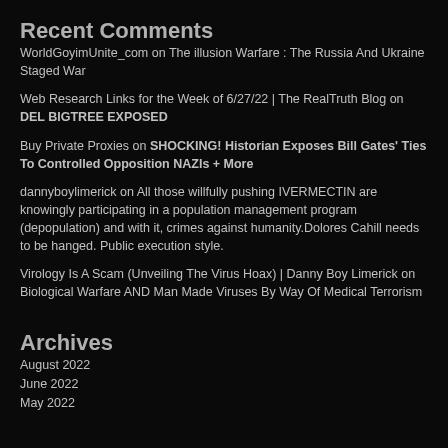Recent Comments
WorldGoyimUnite_com on The illusion Warfare : The Russia And Ukraine Staged War
Web Research Links for the Week of 6/27/22 | The RealTruth Blog on DEL BIGTREE EXPOSED
Buy Private Proxies on SHOCKING! Historian Exposes Bill Gates' Ties To Controlled Opposition NAZIs + More
dannyboylimerick on All those willfully pushing IVERMECTIN are knowingly participating in a population management program (depopulation) and with it, crimes against humanity.Dolores Cahill needs to be hanged. Public execution style.
Virology Is A Scam (Unveiling The Virus Hoax) | Danny Boy Limerick on Biological Warfare AND Man Made Viruses By Way Of Medical Terrorism
Archives
August 2022
June 2022
May 2022